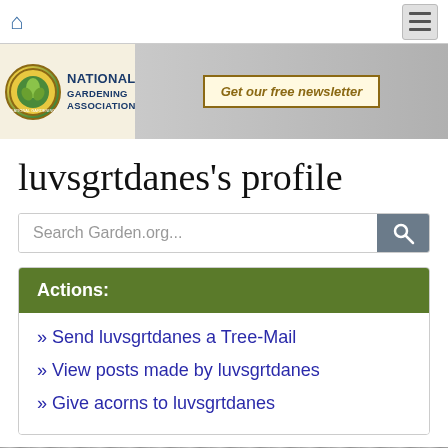National Gardening Association — Get our free newsletter
luvsgrtdanes's profile
Search Garden.org...
Actions:
» Send luvsgrtdanes a Tree-Mail
» View posts made by luvsgrtdanes
» Give acorns to luvsgrtdanes
[Figure (photo): Partial black and white photo at bottom of page]